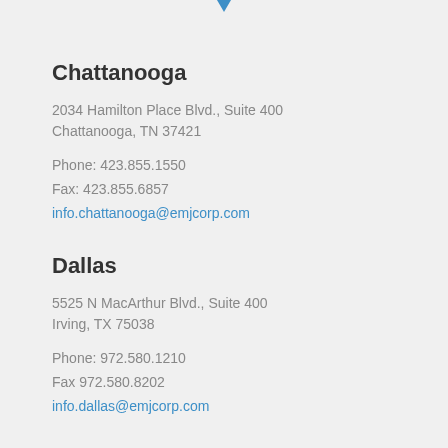[Figure (illustration): Blue map pin / location marker icon at the top center of the page]
Chattanooga
2034 Hamilton Place Blvd., Suite 400
Chattanooga, TN 37421
Phone: 423.855.1550
Fax: 423.855.6857
info.chattanooga@emjcorp.com
Dallas
5525 N MacArthur Blvd., Suite 400
Irving, TX 75038
Phone: 972.580.1210
Fax 972.580.8202
info.dallas@emjcorp.com
Charlotte